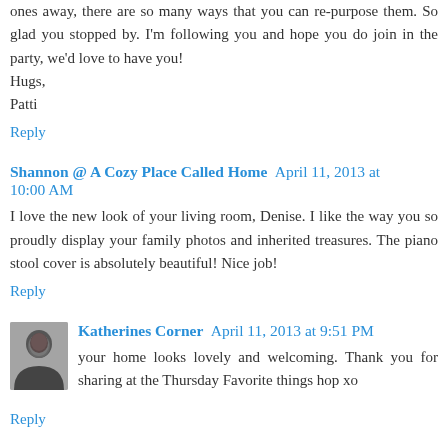ones away, there are so many ways that you can re-purpose them. So glad you stopped by. I'm following you and hope you do join in the party, we'd love to have you! Hugs,
Patti
Reply
Shannon @ A Cozy Place Called Home  April 11, 2013 at 10:00 AM
I love the new look of your living room, Denise. I like the way you so proudly display your family photos and inherited treasures. The piano stool cover is absolutely beautiful! Nice job!
Reply
Katherines Corner  April 11, 2013 at 9:51 PM
your home looks lovely and welcoming. Thank you for sharing at the Thursday Favorite things hop xo
Reply